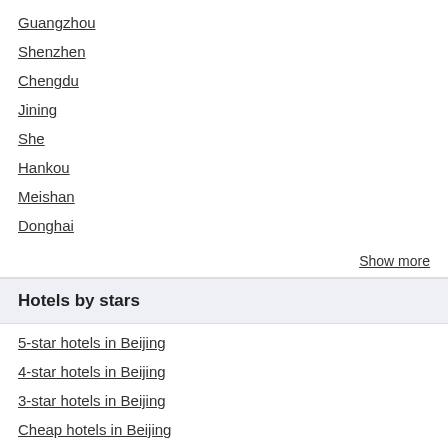Guangzhou
Shenzhen
Chengdu
Jining
She
Hankou
Meishan
Donghai
Show more
Hotels by stars
5-star hotels in Beijing
4-star hotels in Beijing
3-star hotels in Beijing
Cheap hotels in Beijing